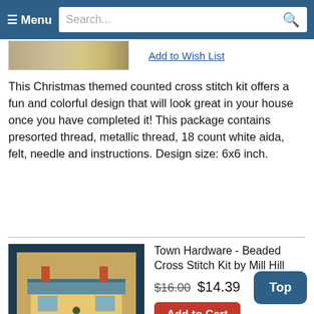Menu | Search...
[Figure (photo): Partial view of a cross stitch product image at top]
Add to Wish List
This Christmas themed counted cross stitch kit offers a fun and colorful design that will look great in your house once you have completed it! This package contains presorted thread, metallic thread, 18 count white aida, felt, needle and instructions. Design size: 6x6 inch.
[Figure (photo): Town Hardware beaded cross stitch kit product image showing a needlework design of a hardware store building in a dark blue frame]
Town Hardware - Beaded Cross Stitch Kit by Mill Hill
$16.00 $14.39
Add to Cart
Add to Wish List
Kit includes beads, ceramic buttons, perforated needles, floss, chart and instructions. Finished size: 5.25" x 5.25"